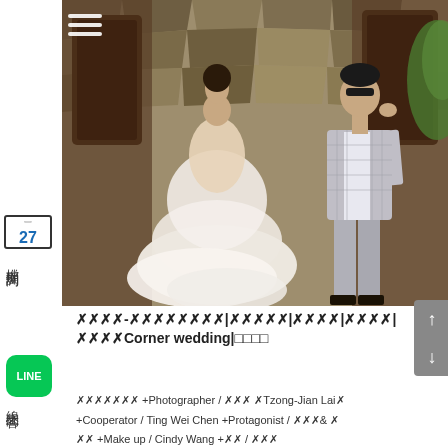[Figure (photo): Wedding photo of a bride in a white tulle gown and a groom in a grey plaid suit, posed against a stone wall background.]
XXXX-XXXXXXXX|XXXXX|XXXX|XXXX|XXXXCorner wedding|□□□□
XXXXXXX +Photographer / XXX XTzong-Jian LaiX +Cooperator / Ting Wei Chen +Protagonist / XXX& X XX +Make up / Cindy Wang +XX / XXX